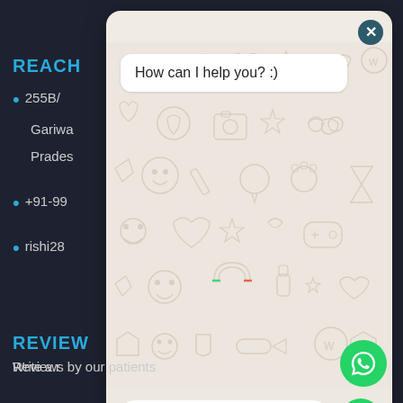REACH
255B/...
Gariwa...
Prades...
+91-99...
rishi28...
REVIEW
Write a r...
Reviews by our patients
[Figure (screenshot): WhatsApp chat widget overlay showing 'How can I help you? :)' message bubble on a beige doodle-patterned background, with a text input field at the bottom and a green send button, plus a green close button in top right corner.]